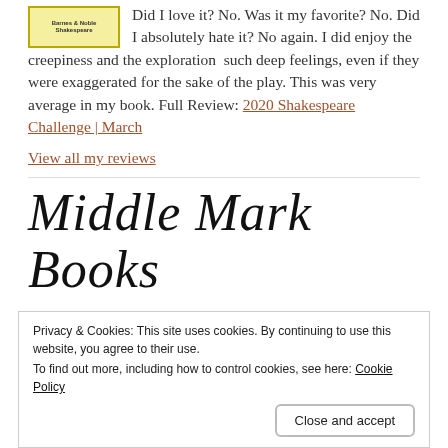Did I love it? No. Was it my favorite? No. Did I absolutely hate it? No again. I did enjoy the creepiness and the exploration such deep feelings, even if they were exaggerated for the sake of the play. This was very average in my book. Full Review: 2020 Shakespeare Challenge | March
View all my reviews
[Figure (logo): Barnes & Noble Shakespeare book cover thumbnail]
Middle Mark Books
Privacy & Cookies: This site uses cookies. By continuing to use this website, you agree to their use. To find out more, including how to control cookies, see here: Cookie Policy
Close and accept